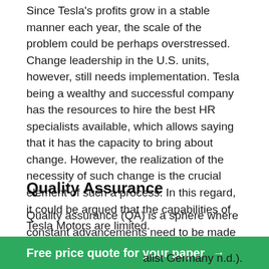Since Tesla's profits grow in a stable manner each year, the scale of the problem could be perhaps overstressed. Change leadership in the U.S. units, however, still needs implementation. Tesla being a wealthy and successful company has the resources to hire the best HR specialists available, which allows saying that it has the capacity to bring about change. However, the realization of the necessity of such change is the crucial element of such a process. In this regard, it could be argued that the capabilities of Tesla Motors are limited.
Quality Assurance
Quality assurance (QA) is a sphere where constant advancements need to be made in order to deliver the best service and product possible. Each production department has a team of quality assurance specialists and a QA manager who reports having a competitive [specialist Germany n.d.).
Free price quote for your paper →